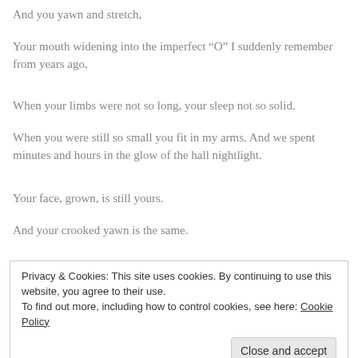And you yawn and stretch,
Your mouth widening into the imperfect “O” I suddenly remember from years ago,
When your limbs were not so long, your sleep not so solid.
When you were still so small you fit in my arms. And we spent minutes and hours in the glow of the hall nightlight.
Your face, grown, is still yours.
And your crooked yawn is the same.
Privacy & Cookies: This site uses cookies. By continuing to use this website, you agree to their use.
To find out more, including how to control cookies, see here: Cookie Policy